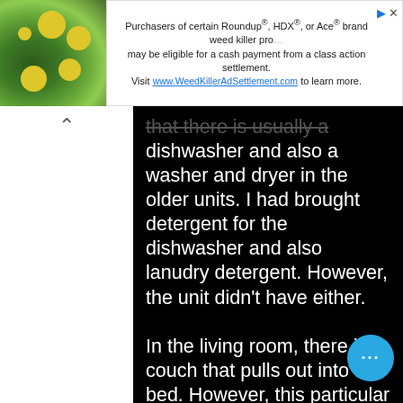[Figure (screenshot): Advertisement banner for WeedKillerAdSettlement.com featuring a photo of yellow flowers and green plants on the left, with ad text on the right.]
that there is usually a dishwasher and also a washer and dryer in the older units. I had brought detergent for the dishwasher and also lanudry detergent. However, the unit didn't have either.

In the living room, there is a couch that pulls out into a bed. However, this particular one is SO THI… that I once sat on it and